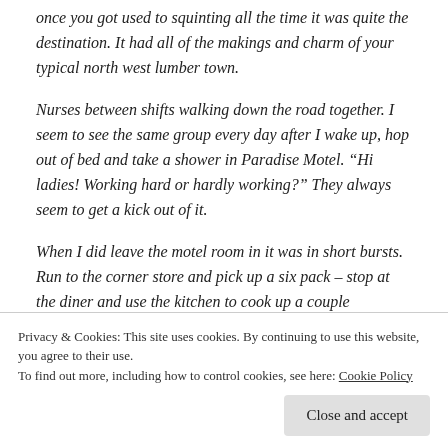once you got used to squinting all the time it was quite the destination. It had all of the makings and charm of your typical north west lumber town.
Nurses between shifts walking down the road together. I seem to see the same group every day after I wake up, hop out of bed and take a shower in Paradise Motel. “Hi ladies! Working hard or hardly working?” They always seem to get a kick out of it.
When I did leave the motel room in it was in short bursts. Run to the corner store and pick up a six pack – stop at the diner and use the kitchen to cook up a couple
Privacy & Cookies: This site uses cookies. By continuing to use this website, you agree to their use.
To find out more, including how to control cookies, see here: Cookie Policy